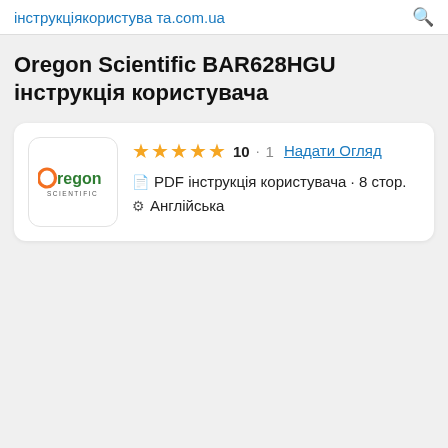інструкціякористува та.com.ua
Oregon Scientific BAR628HGU інструкція користувача
[Figure (logo): Oregon Scientific company logo — orange 'O' with green 'Regon' text and 'SCIENTIFIC' below]
★★★★★ 10 · 1 Надати Огляд
PDF інструкція користувача · 8 стор.
Англійська